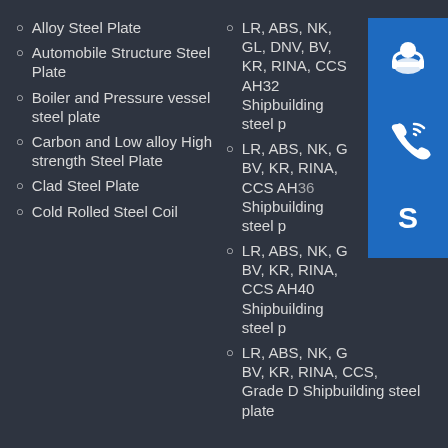Alloy Steel Plate
Automobile Structure Steel Plate
Boiler and Pressure vessel steel plate
Carbon and Low alloy High strength Steel Plate
Clad Steel Plate
Cold Rolled Steel Coil
LR, ABS, NK, GL, DNV, BV, KR, RINA, CCS AH32 Shipbuilding steel plate
LR, ABS, NK, GL, DNV, BV, KR, RINA, CCS AH36 Shipbuilding steel plate
LR, ABS, NK, GL, DNV, BV, KR, RINA, CCS AH40 Shipbuilding steel plate
LR, ABS, NK, GL, DNV, BV, KR, RINA, CCS, Grade D Shipbuilding steel plate
[Figure (infographic): Three blue icon boxes stacked vertically: a customer service headset icon, a phone/call icon, and a Skype logo icon]
Contact US
Henan Hardax Iron & Steel Co., Ltd